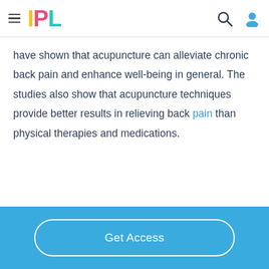IPL
have shown that acupuncture can alleviate chronic back pain and enhance well-being in general. The studies also show that acupuncture techniques provide better results in relieving back pain than physical therapies and medications.
Get Access